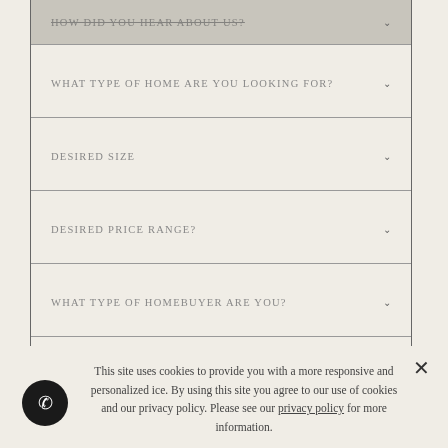HOW DID YOU HEAR ABOUT US?
WHAT TYPE OF HOME ARE YOU LOOKING FOR?
DESIRED SIZE
DESIRED PRICE RANGE?
WHAT TYPE OF HOMEBUYER ARE YOU?
FORM RIGHT END
NEW ROW
This site uses cookies to provide you with a more responsive and personalized ice. By using this site you agree to our use of cookies and our privacy policy. Please see our privacy policy for more information.